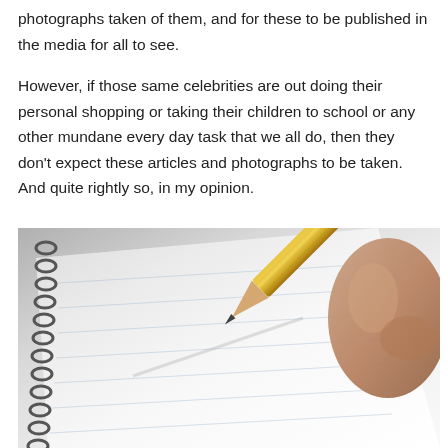photographs taken of them, and for these to be published in the media for all to see.
However, if those same celebrities are out doing their personal shopping or taking their children to school or any other mundane every day task that we all do, then they don't expect these articles and photographs to be taken. And quite rightly so, in my opinion.
[Figure (photo): Close-up photo of a hand holding a yellow pencil, writing on a spiral-bound lined notebook, viewed at an angle from above.]